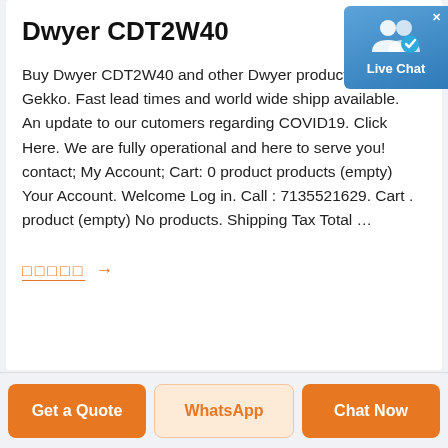Dwyer CDT2W40
Buy Dwyer CDT2W40 and other Dwyer products from Gekko. Fast lead times and world wide shipp available. An update to our cutomers regarding COVID19. Click Here. We are fully operational and here to serve you! contact; My Account; Cart: 0 product products (empty) Your Account. Welcome Log in. Call : 7135521629. Cart . product (empty) No products. Shipping Tax Total …
[Figure (other): Star rating widget with 5 hollow/unfilled orange star symbols followed by an orange right arrow]
[Figure (other): Live Chat widget — blue gradient box with two user silhouette icons and a checkmark badge, labeled 'Live Chat', with an X close button]
Get a Quote   WhatsApp   Chat Now